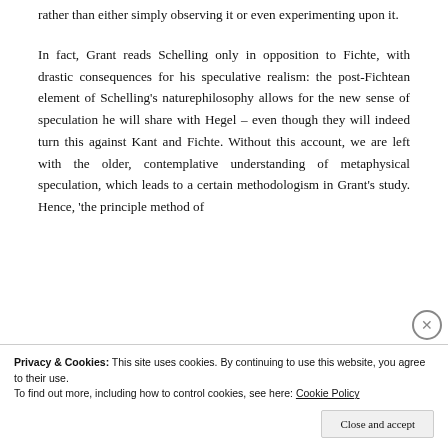rather than either simply observing it or even experimenting upon it.

In fact, Grant reads Schelling only in opposition to Fichte, with drastic consequences for his speculative realism: the post-Fichtean element of Schelling's naturephilosophy allows for the new sense of speculation he will share with Hegel – even though they will indeed turn this against Kant and Fichte. Without this account, we are left with the older, contemplative understanding of metaphysical speculation, which leads to a certain methodologism in Grant's study. Hence, 'the principle method of
Privacy & Cookies: This site uses cookies. By continuing to use this website, you agree to their use.
To find out more, including how to control cookies, see here: Cookie Policy
Close and accept